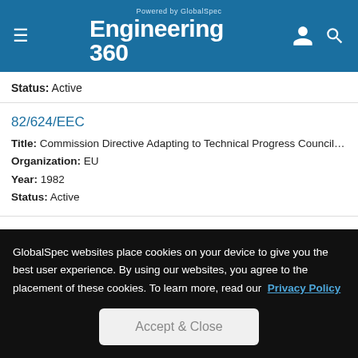Powered by GlobalSpec Engineering 360
Status: Active
82/624/EEC
Title: Commission Directive Adapting to Technical Progress Council Dire... Approximation of the Laws of the Member States Relating to Alcoholome...
Organization: EU
Year: 1982
Status: Active
80/590/EEC
Title: Commission Directive Determining the Symbol That May Accompa...
GlobalSpec websites place cookies on your device to give you the best user experience. By using our websites, you agree to the placement of these cookies. To learn more, read our Privacy Policy